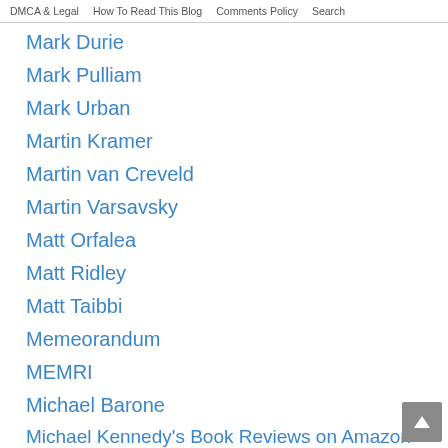DMCA & Legal | How To Read This Blog | Comments Policy | Search
Mark Durie
Mark Pulliam
Mark Urban
Martin Kramer
Martin van Creveld
Martin Varsavsky
Matt Orfalea
Matt Ridley
Matt Taibbi
Memeorandum
MEMRI
Michael Barone
Michael Kennedy's Book Reviews on Amazon